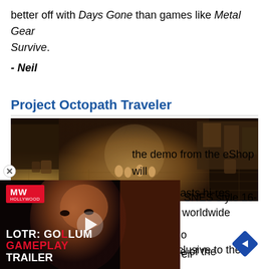better off with Days Gone than games like Metal Gear Survive.
- Neil
Project Octopath Traveler
[Figure (screenshot): Screenshot from Project Octopath Traveler showing a top-down RPG scene with pixel-art characters in a stone-paved medieval town with warm brown tones.]
Given that Nintendo is handling the worldwide publishing to this game, it will most likely stay exclusive to the Switch.
[Figure (other): Video ad overlay for LOTR: Gollum Gameplay Trailer by MW Hollywood, partially covering the text. Shows a close-up of a character's face with a play button in the center.]
the demo from the eShop will
raveler boasts hi-res
hined with SNES style 16-bit
On-The-Go
eli
e of the